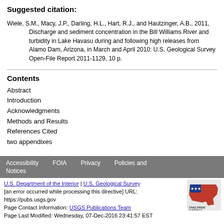Suggested citation:
Wiele, S.M., Macy, J.P., Darling, H.L., Hart, R.J., and Hautzinger, A.B., 2011, Discharge and sediment concentration in the Bill Williams River and turbidity in Lake Havasu during and following high releases from Alamo Dam, Arizona, in March and April 2010: U.S. Geological Survey Open-File Report 2011-1129, 10 p.
Contents
Abstract
Introduction
Acknowledgments
Methods and Results
References Cited
two appendixes
Accessibility Notices | FOIA | Privacy | Policies and
U.S. Department of the Interior | U.S. Geological Survey
[an error occurred while processing this directive] URL: https://pubs.usgs.gov
Page Contact Information: USGS Publications Team
Page Last Modified: Wednesday, 07-Dec-2016 23:41:57 EST